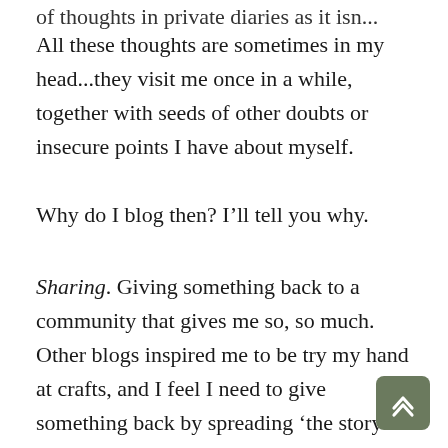of thoughts in private diaries as it isn...
All these thoughts are sometimes in my head...they visit me once in a while, together with seeds of other doubts or insecure points I have about myself.
Why do I blog then? I'll tell you why.
Sharing. Giving something back to a community that gives me so, so much. Other blogs inspired me to be try my hand at crafts, and I feel I need to give something back by spreading ‘the story of crafts’ on through the line.